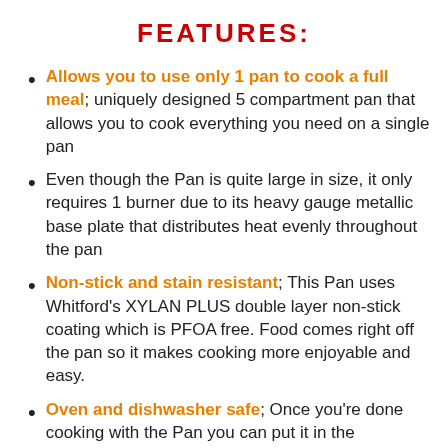FEATURES:
Allows you to use only 1 pan to cook a full meal; uniquely designed 5 compartment pan that allows you to cook everything you need on a single pan
Even though the Pan is quite large in size, it only requires 1 burner due to its heavy gauge metallic base plate that distributes heat evenly throughout the pan
Non-stick and stain resistant; This Pan uses Whitford's XYLAN PLUS double layer non-stick coating which is PFOA free. Food comes right off the pan so it makes cooking more enjoyable and easy.
Oven and dishwasher safe; Once you're done cooking with the Pan you can put it in the